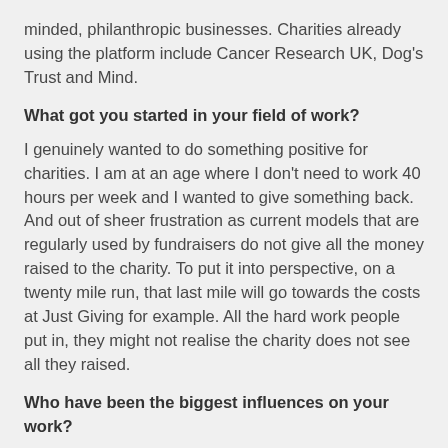minded, philanthropic businesses. Charities already using the platform include Cancer Research UK, Dog's Trust and Mind.
What got you started in your field of work?
I genuinely wanted to do something positive for charities. I am at an age where I don't need to work 40 hours per week and I wanted to give something back. And out of sheer frustration as current models that are regularly used by fundraisers do not give all the money raised to the charity. To put it into perspective, on a twenty mile run, that last mile will go towards the costs at Just Giving for example. All the hard work people put in, they might not realise the charity does not see all they raised.
Who have been the biggest influences on your work?
Steve Jobs was a big influence – his attention to detail, and his motto "being the richest man in the cemetery...